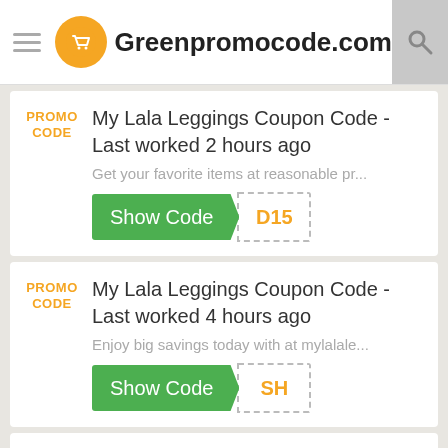Greenpromocode.com
PROMO CODE
My Lala Leggings Coupon Code - Last worked 2 hours ago
Get your favorite items at reasonable pr...
Show Code D15
PROMO CODE
My Lala Leggings Coupon Code - Last worked 4 hours ago
Enjoy big savings today with at mylalale...
Show Code SH
PROMO
Verified Discount Code - Last saved $4.80 on My Lala Leggings